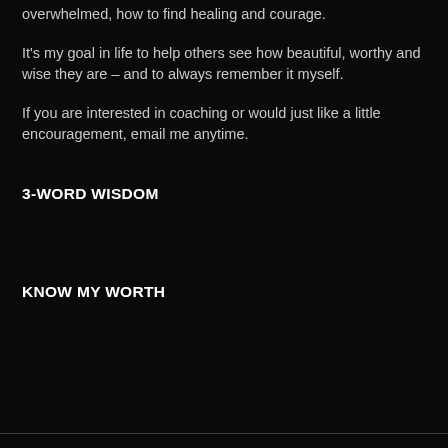overwhelmed, how to find healing and courage.
It's my goal in life to help others see how beautiful, worthy and wise they are – and to always remember it myself.
If you are interested in coaching or would just like a little encouragement, email me anytime.
3-WORD WISDOM
KNOW MY WORTH